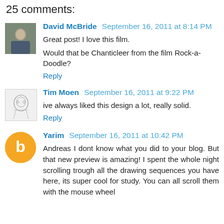25 comments:
David McBride September 16, 2011 at 8:14 PM
Great post! I love this film.
Would that be Chanticleer from the film Rock-a-Doodle?
Reply
Tim Moen September 16, 2011 at 9:22 PM
ive always liked this design a lot, really solid.
Reply
Yarim September 16, 2011 at 10:42 PM
Andreas I dont know what you did to your blog. But that new preview is amazing! I spent the whole night scrolling trough all the drawing sequences you have here, its super cool for study. You can all scroll them with the mouse wheel